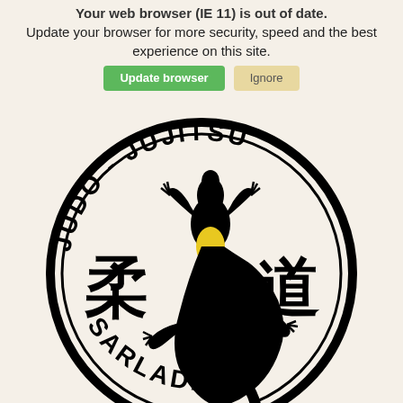Your web browser (IE 11) is out of date. Update your browser for more security, speed and the best experience on this site.
[Figure (logo): Circular logo for Judo-Jujitsu Sarladais club. Black circle border with text 'JUDO - JUJITSU' arcing along the top and 'SARLADAIS' arcing along the bottom. Inside: a stylized black gecko/lizard with a yellow belly, flanked by two large Japanese kanji characters (柔 on the left, 道 on the right). Below the circle are two crossed black belts/bands.]